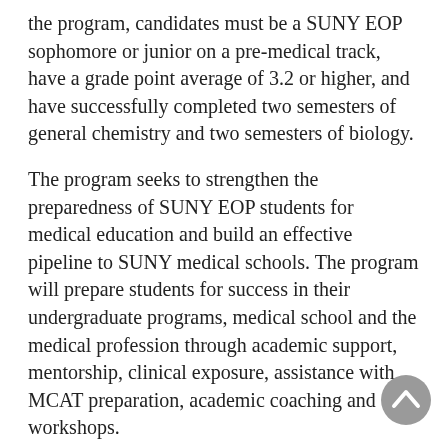the program, candidates must be a SUNY EOP sophomore or junior on a pre-medical track, have a grade point average of 3.2 or higher, and have successfully completed two semesters of general chemistry and two semesters of biology.
The program seeks to strengthen the preparedness of SUNY EOP students for medical education and build an effective pipeline to SUNY medical schools. The program will prepare students for success in their undergraduate programs, medical school and the medical profession through academic support, mentorship, clinical exposure, assistance with MCAT preparation, academic coaching and workshops.
“The new SUNY for All Pre-Medical Scholars Pipeline Program will be a deliberate and well-executed mechanism to increase much-needed diversity in our medical school and across the state,” said Upstate President Mantosh Dewan, MD. “This program will allow more young men and women from a wider